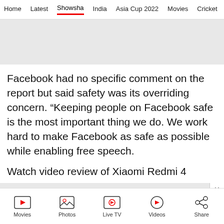Home  Latest  Showsha  India  Asia Cup 2022  Movies  Cricket
[Figure (other): Gray advertisement banner placeholder at top]
Facebook had no specific comment on the report but said safety was its overriding concern. “Keeping people on Facebook safe is the most important thing we do. We work hard to make Facebook as safe as possible while enabling free speech.
Watch video review of Xiaomi Redmi 4
[Figure (other): Gray advertisement banner with close (X) button]
Movies  Photos  Live TV  Videos  Share